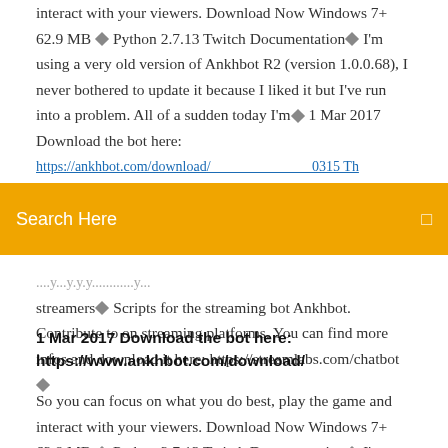interact with your viewers. Download Now Windows 7+ 62.9 MB ◆ Python 2.7.13 Twitch Documentation◆ I'm using a very old version of Ankhbot R2 (version 1.0.0.68), I never bothered to update it because I liked it but I've run into a problem. All of a sudden today I'm◆ 1 Mar 2017 Download the bot here: https://ankhbot.com/download/&lt;partially obscured&gt;
Search Here
streamers◆ Scripts for the streaming bot Ankhbot. Contribute to on streaming platforms. You can find more infos and download it here: https://streamlabs.com/chatbot◆
1 Mar 2017 Download the bot here: https://www.ankhbot.com/download/
So you can focus on what you do best, play the game and interact with your viewers. Download Now Windows 7+ 62.9 MB ◆ Python 2.7.13 Twitch Documentation◆ I'm using a very old